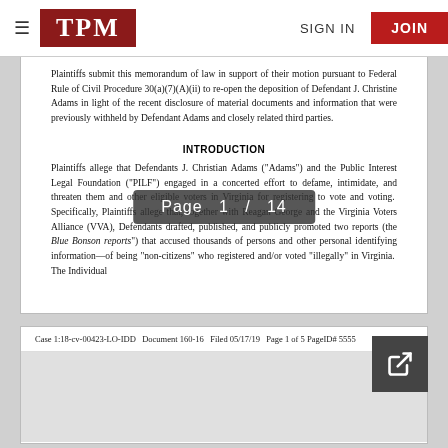TPM — SIGN IN — JOIN
Plaintiffs submit this memorandum of law in support of their motion pursuant to Federal Rule of Civil Procedure 30(a)(7)(A)(ii) to re-open the deposition of Defendant J. Christine Adams in light of the recent disclosure of material documents and information that were previously withheld by Defendant Adams and closely related third parties.
INTRODUCTION
Plaintiffs allege that Defendants J. Christian Adams ("Adams") and the Public Interest Legal Foundation ("PILF") engaged in a concerted effort to defame, intimidate, and threaten them and other eligible voters in Virginia for registering to vote and voting. Specifically, Plaintiffs allege that, together with Reagan George and the Virginia Voters Alliance (VVA), Defendants drafted, published, and publicly promoted two reports (the "Blue Bonson reports") that accused thousands of persons and other personal identifying information—of being "non-citizens" who registered and/or voted "illegally" in Virginia. The Individual
Page 1 / 14
Case 1:18-cv-00423-LO-IDD   Document 160-16   Filed 05/17/19   Page 1 of 5 PageID# 5555